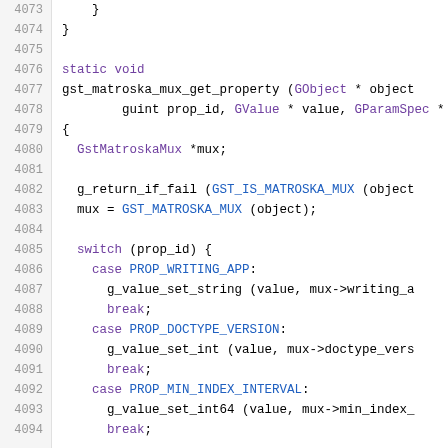Source code listing lines 4073-4094, C language, gst_matroska_mux_get_property function